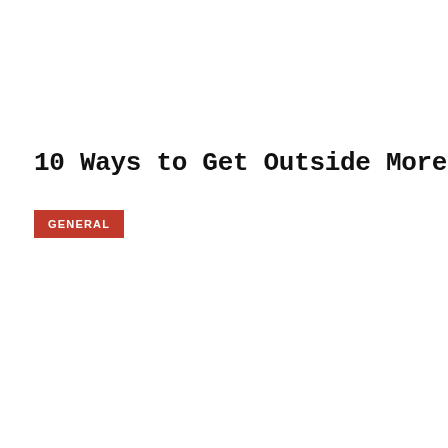10 Ways to Get Outside More
GENERAL